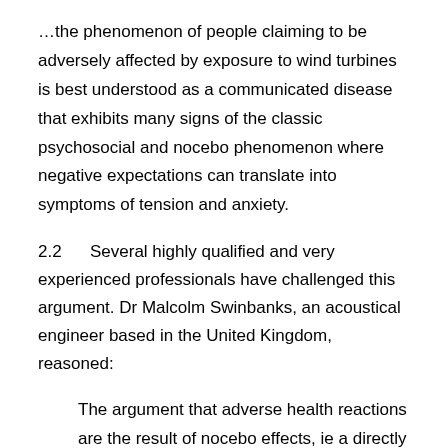…the phenomenon of people claiming to be adversely affected by exposure to wind turbines is best understood as a communicated disease that exhibits many signs of the classic psychosocial and nocebo phenomenon where negative expectations can translate into symptoms of tension and anxiety.
2.2      Several highly qualified and very experienced professionals have challenged this argument. Dr Malcolm Swinbanks, an acoustical engineer based in the United Kingdom, reasoned:
The argument that adverse health reactions are the result of nocebo effects, ie a directly anticipated adverse reaction, completely fails to consider the many cases where communities have initially welcomed the introduction of wind turbines, believing